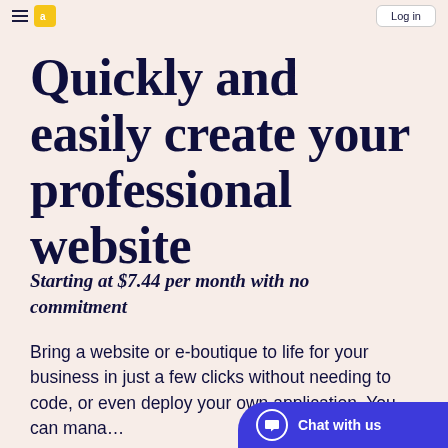[navigation bar with hamburger menu, logo, and login button]
Quickly and easily create your professional website
Starting at $7.44 per month with no commitment
Bring a website or e-boutique to life for your business in just a few clicks without needing to code, or even deploy your own application. You can mana…
[Figure (other): Chat with us widget button in bottom right corner, dark blue/purple background with speech bubble icon and 'Chat with us' text]